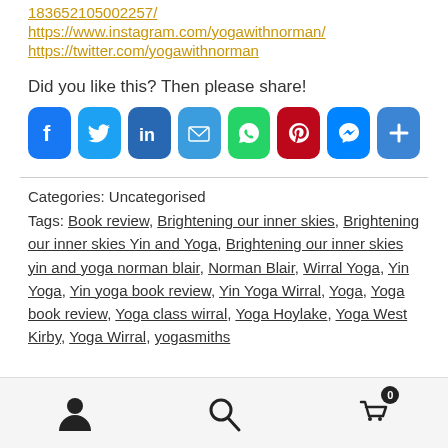183652105002257/
https://www.instagram.com/yogawithnorman/
https://twitter.com/yogawithnorman
Did you like this? Then please share!
[Figure (infographic): Row of social sharing icons: Facebook, Twitter, LinkedIn, Email, WhatsApp, Pinterest, Messenger, Share]
Categories: Uncategorised
Tags: Book review, Brightening our inner skies, Brightening our inner skies Yin and Yoga, Brightening our inner skies yin and yoga norman blair, Norman Blair, Wirral Yoga, Yin Yoga, Yin yoga book review, Yin Yoga Wirral, Yoga, Yoga book review, Yoga class wirral, Yoga Hoylake, Yoga West Kirby, Yoga Wirral, yogasmiths
User icon, Search icon, Cart icon with badge 0